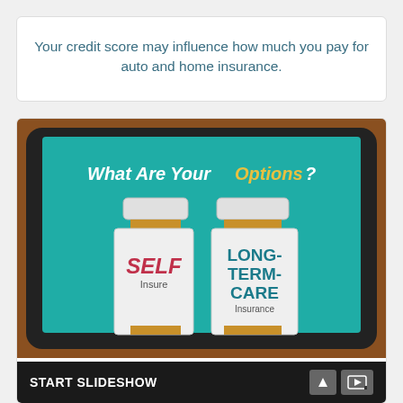Your credit score may influence how much you pay for auto and home insurance.
[Figure (photo): A tablet displaying a slideshow screen titled 'What Are Your Options?' showing two pill bottles labeled 'SELF Insure' and 'LONG-TERM-CARE Insurance' on a teal background. Below the image is a 'START SLIDESHOW' bar with navigation controls.]